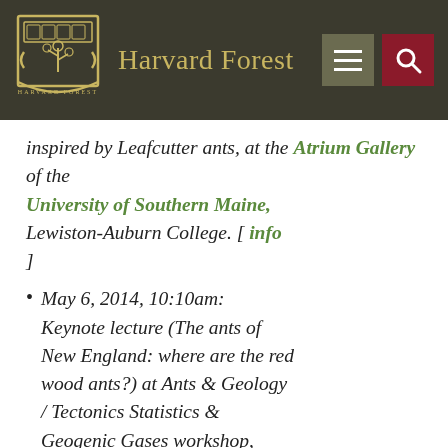Harvard Forest
inspired by Leafcutter ants, at the Atrium Gallery of the University of Southern Maine, Lewiston-Auburn College. [ info ]
May 6, 2014, 10:10am: Keynote lecture (The ants of New England: where are the red wood ants?) at Ants & Geology / Tectonics Statistics & Geogenic Gases workshop,